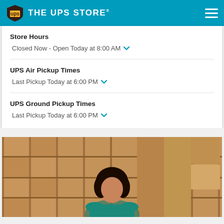THE UPS STORE
Store Hours
Closed Now - Open Today at 8:00 AM
UPS Air Pickup Times
Last Pickup Today at 6:00 PM
UPS Ground Pickup Times
Last Pickup Today at 6:00 PM
[Figure (photo): A woman with curly hair wearing a teal shirt, standing in front of shelving units filled with cardboard boxes and packing materials in a UPS Store.]